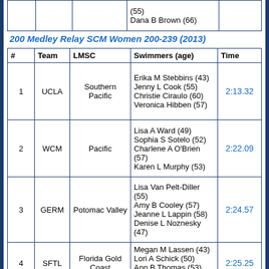|  |  |  | (55)
Dana B Brown (66) |  |
200 Medley Relay SCM Women 200-239 (2013)
| # | Team | LMSC | Swimmers (age) | Time |
| --- | --- | --- | --- | --- |
| 1 | UCLA | Southern Pacific | Erika M Stebbins (43)
Jenny L Cook (55)
Christie Ciraulo (60)
Veronica Hibben (57) | 2:13.32 |
| 2 | WCM | Pacific | Lisa A Ward (49)
Sophia S Sotelo (52)
Charlene A O'Brien (57)
Karen L Murphy (53) | 2:22.09 |
| 3 | GERM | Potomac Valley | Lisa Van Pelt-Diller (55)
Amy B Cooley (57)
Jeanne L Lappin (58)
Denise L Noznesky (47) | 2:24.57 |
| 4 | SFTL | Florida Gold Coast | Megan M Lassen (43)
Lori A Schick (50)
Ann B Thomas (53)
Chris Wenzel (54) | 2:25.25 |